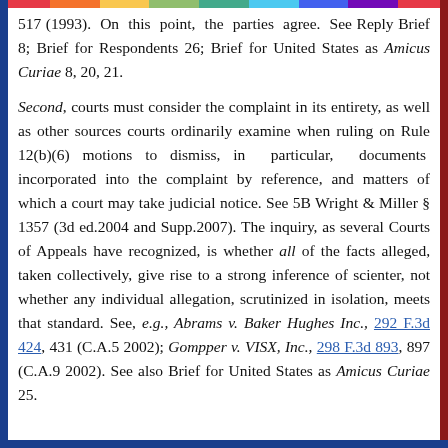517 (1993). On this point, the parties agree. See Reply Brief 8; Brief for Respondents 26; Brief for United States as Amicus Curiae 8, 20, 21.
Second, courts must consider the complaint in its entirety, as well as other sources courts ordinarily examine when ruling on Rule 12(b)(6) motions to dismiss, in particular, documents incorporated into the complaint by reference, and matters of which a court may take judicial notice. See 5B Wright & Miller § 1357 (3d ed.2004 and Supp.2007). The inquiry, as several Courts of Appeals have recognized, is whether all of the facts alleged, taken collectively, give rise to a strong inference of scienter, not whether any individual allegation, scrutinized in isolation, meets that standard. See, e.g., Abrams v. Baker Hughes Inc., 292 F.3d 424, 431 (C.A.5 2002); Gompper v. VISX, Inc., 298 F.3d 893, 897 (C.A.9 2002). See also Brief for United States as Amicus Curiae 25.